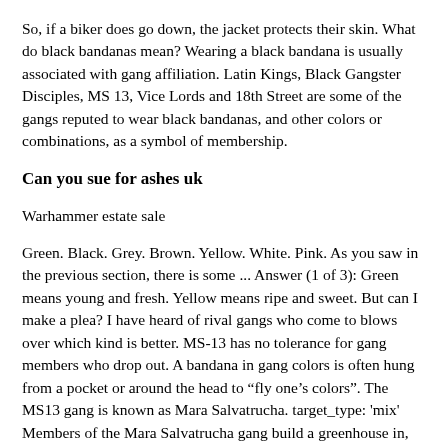So, if a biker does go down, the jacket protects their skin. What do black bandanas mean? Wearing a black bandana is usually associated with gang affiliation. Latin Kings, Black Gangster Disciples, MS 13, Vice Lords and 18th Street are some of the gangs reputed to wear black bandanas, and other colors or combinations, as a symbol of membership.
Can you sue for ashes uk
Warhammer estate sale
Green. Black. Grey. Brown. Yellow. White. Pink. As you saw in the previous section, there is some ... Answer (1 of 3): Green means young and fresh. Yellow means ripe and sweet. But can I make a plea? I have heard of rival gangs who come to blows over which kind is better. MS-13 has no tolerance for gang members who drop out. A bandana in gang colors is often hung from a pocket or around the head to “fly one’s colors”. The MS13 gang is known as Mara Salvatrucha. target_type: 'mix' Members of the Mara Salvatrucha gang build a greenhouse in, 12. New male members of MS13 go through an initiation in which they ...
Green. Black. Grey. Brown. Yellow. White. Pink. As you saw in the previous section, there is some ... TWO RED BANDANNAS,